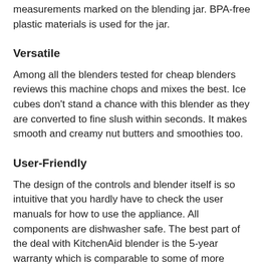measurements marked on the blending jar. BPA-free plastic materials is used for the jar.
Versatile
Among all the blenders tested for cheap blenders reviews this machine chops and mixes the best. Ice cubes don't stand a chance with this blender as they are converted to fine slush within seconds. It makes smooth and creamy nut butters and smoothies too.
User-Friendly
The design of the controls and blender itself is so intuitive that you hardly have to check the user manuals for how to use the appliance. All components are dishwasher safe. The best part of the deal with KitchenAid blender is the 5-year warranty which is comparable to some of more expensive blenders in the market.